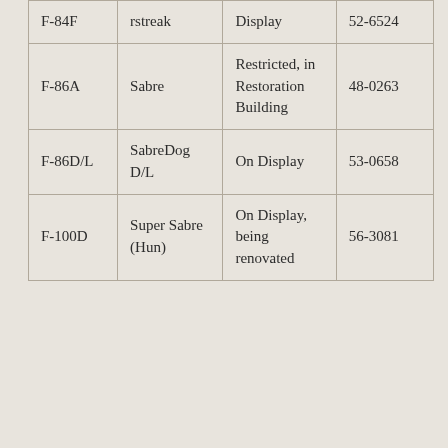| F-84F | rstreak | Display | 52-6524 |
| F-86A | Sabre | Restricted, in Restoration Building | 48-0263 |
| F-86D/L | SabreDog D/L | On Display | 53-0658 |
| F-100D | Super Sabre (Hun) | On Display, being renovated | 56-3081 |